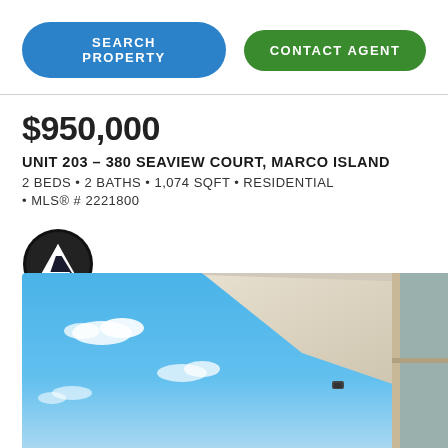SEARCH PROPERTY
CONTACT AGENT
$950,000
UNIT 203 – 380 SEAVIEW COURT, MARCO ISLAND
2 BEDS • 2 BATHS • 1,074 SQFT • RESIDENTIAL
• MLS® # 2221800
[Figure (logo): Florida IDX logo — black circle with mountain/house icon and text FLORIDA IDX]
[Figure (photo): Exterior balcony view with blue sky and clouds, showing building overhang and sliding glass door frame]